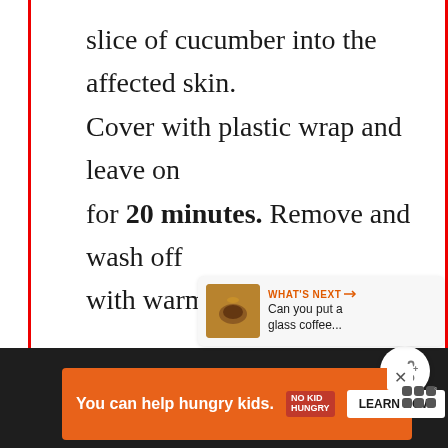slice of cucumber into the affected skin. Cover with plastic wrap and leave on for 20 minutes. Remove and wash off with warm water.
[Figure (screenshot): Heart/like button (blue circle with white heart icon) and share button (white circle with share icon)]
[Figure (screenshot): What's Next panel showing a thumbnail of a glass coffee pot with orange arrow text 'WHAT'S NEXT' and text 'Can you put a glass coffee...']
[Figure (screenshot): Bottom advertisement banner on dark background: orange ad reading 'You can help hungry kids.' with No Kid Hungry logo and 'LEARN HOW' button, plus close X button and menu icon]